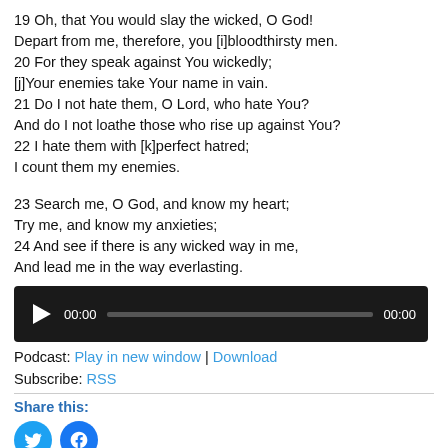19 Oh, that You would slay the wicked, O God! Depart from me, therefore, you [i]bloodthirsty men. 20 For they speak against You wickedly; [j]Your enemies take Your name in vain. 21 Do I not hate them, O Lord, who hate You? And do I not loathe those who rise up against You? 22 I hate them with [k]perfect hatred; I count them my enemies.
23 Search me, O God, and know my heart; Try me, and know my anxieties; 24 And see if there is any wicked way in me, And lead me in the way everlasting.
[Figure (other): Audio player widget with play button, progress bar, and timestamps 00:00]
Podcast: Play in new window | Download
Subscribe: RSS
Share this:
[Figure (other): Social media icons: Twitter and Facebook circular buttons]